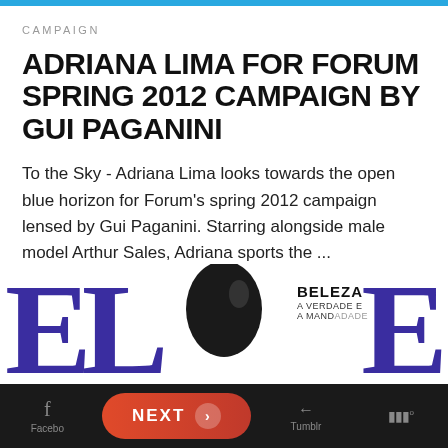CAMPAIGN
ADRIANA LIMA FOR FORUM SPRING 2012 CAMPAIGN BY GUI PAGANINI
To the Sky - Adriana Lima looks towards the open blue horizon for Forum's spring 2012 campaign lensed by Gui Paganini. Starring alongside male model Arthur Sales, Adriana sports the ...
Read More
[Figure (photo): Magazine cover preview showing large purple letters 'ELLE' with a model's head visible in the center, and 'BELEZA A VERDADE E' text on the right]
Facebook   NEXT >   Tumblr